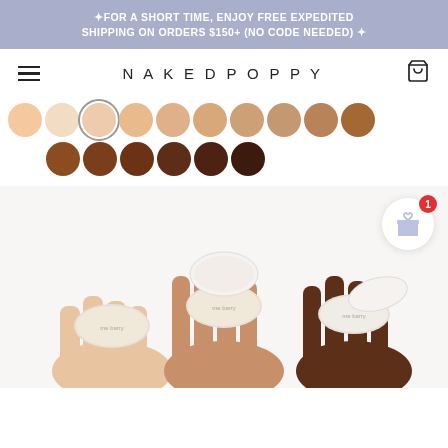✦FOR A SHORT TIME, ENJOY FREE EXPEDITED SHIPPING ON ORDERS $150+ (NO CODE NEEDED) ✦
NAKEDPOPPY
[Figure (other): Two rows of color swatches showing foundation shades ranging from light/fair skin tones to deep/dark skin tones. The third swatch in the first row is selected (outlined). Row 1: 10 swatches from very light peach to tan-brown. Row 2: 6 swatches from medium brown to dark chocolate brown.]
[Figure (photo): Three sets of hands holding open round compact powder makeup containers showing loose powder foundations in three different shades: light/fair, medium, and deep/dark. The containers have white lids with product branding.]